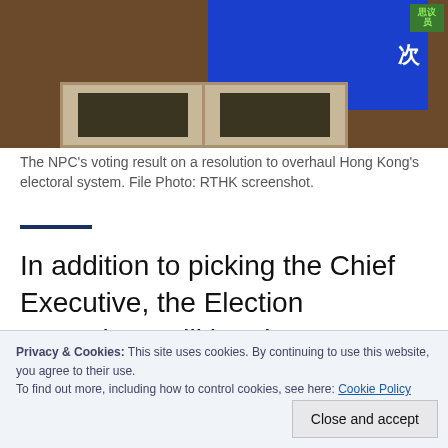[Figure (screenshot): Photo showing the NPC voting result displayed on a large blue screen in a chamber, with wooden display panels below.]
The NPC's voting result on a resolution to overhaul Hong Kong's electoral system. File Photo: RTHK screenshot.
In addition to picking the Chief Executive, the Election Committee will be given new powers to elect a considerable number of members of the legislature. It will also be responsible for nominating candidates to stand in legislative
Privacy & Cookies: This site uses cookies. By continuing to use this website, you agree to their use.
To find out more, including how to control cookies, see here: Cookie Policy
Close and accept